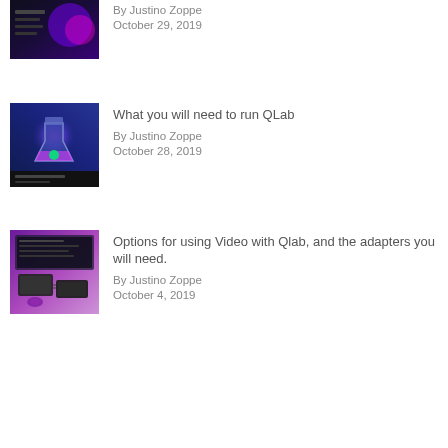[Figure (photo): Dark themed screenshot thumbnail with purple abstract graphics]
By Justino Zoppe
October 29, 2019
[Figure (photo): Blue background with glowing flask/potion bottle illustration]
What you will need to run QLab
By Justino Zoppe
October 28, 2019
[Figure (photo): Purple background with Mac hardware setup and video adapters]
Options for using Video with Qlab, and the adapters you will need.
By Justino Zoppe
October 4, 2019